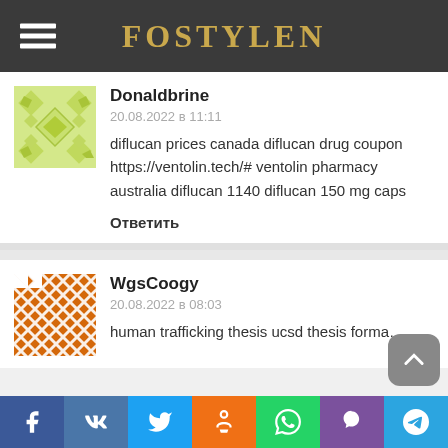FOSTYLEN
Donaldbrine
20.08.2022 в 11:11
diflucan prices canada diflucan drug coupon https://ventolin.tech/# ventolin pharmacy australia
diflucan 1140 diflucan 150 mg caps
Ответить
WgsCoogy
20.08.2022 в 08:03
human trafficking thesis ucsd thesis forma…